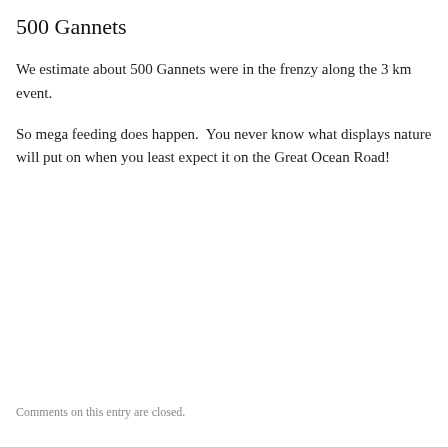500 Gannets
We estimate about 500 Gannets were in the frenzy along the 3 km event.
So mega feeding does happen.  You never know what displays nature will put on when you least expect it on the Great Ocean Road!
Comments on this entry are closed.